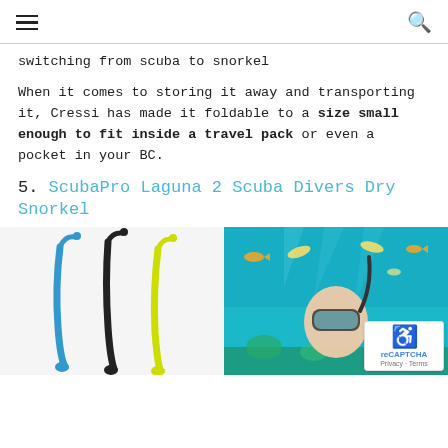[hamburger menu] [search icon]
switching from scuba to snorkel
When it comes to storing it away and transporting it, Cressi has made it foldable to a size small enough to fit inside a travel pack or even a pocket in your BC.
5. ScubaPro Laguna 2 Scuba Divers Dry Snorkel
[Figure (photo): Left side: Three snorkels (blue, black, yellow) standing upright on white background. Right side: Underwater photo of a person snorkeling with mask, with colorful fish and coral reef visible.]